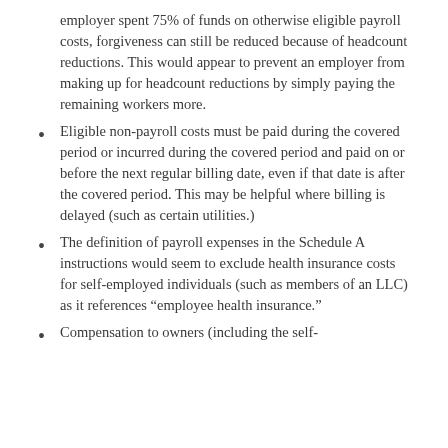employer spent 75% of funds on otherwise eligible payroll costs, forgiveness can still be reduced because of headcount reductions. This would appear to prevent an employer from making up for headcount reductions by simply paying the remaining workers more.
Eligible non-payroll costs must be paid during the covered period or incurred during the covered period and paid on or before the next regular billing date, even if that date is after the covered period. This may be helpful where billing is delayed (such as certain utilities.)
The definition of payroll expenses in the Schedule A instructions would seem to exclude health insurance costs for self-employed individuals (such as members of an LLC) as it references “employee health insurance.”
Compensation to owners (including the self-